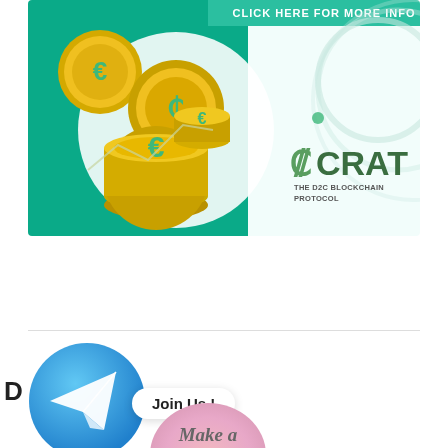[Figure (illustration): CRAT cryptocurrency advertisement banner with gold euro coins on green background, white circle, decorative arcs on right side, and CRAT THE D2C BLOCKCHAIN PROTOCOL logo. Top bar reads CLICK HERE FOR MORE INFO.]
[Figure (logo): Telegram logo circle (blue circle with white paper plane arrow icon) overlapping partial text. A white speech bubble says 'Join Us !'.]
Join Us !
[Figure (illustration): Partial pink/rose circular badge with italic text 'Make a' visible at bottom of page.]